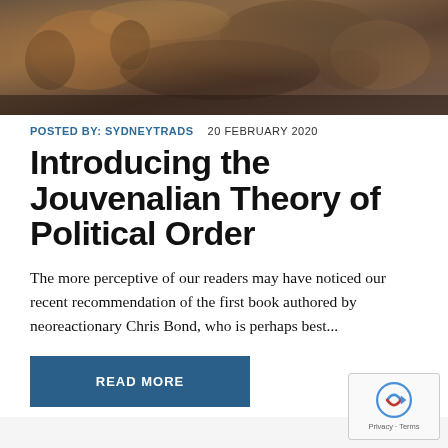[Figure (photo): Painting of a crowd scene, dark tones with figures in historical dress, appears to be a battle or uprising scene]
POSTED BY: SYDNEYTRADS   20 FEBRUARY 2020
Introducing the Jouvenalian Theory of Political Order
The more perceptive of our readers may have noticed our recent recommendation of the first book authored by neoreactionary Chris Bond, who is perhaps best...
READ MORE